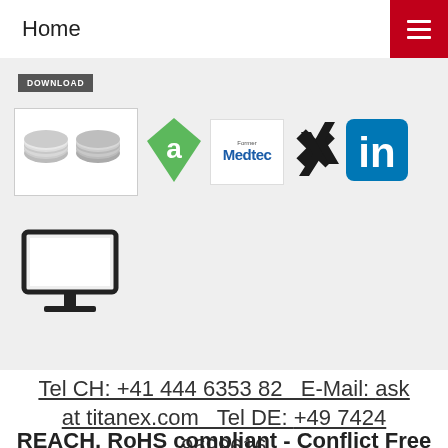Home
[Figure (screenshot): Download button (gray pill)]
[Figure (photo): Two silver coin-shaped components, a green diamond 'a' logo, Medtec logo, Xing logo, LinkedIn logo]
[Figure (illustration): Monitor/desktop screen icon]
Tel CH: +41 444 6353 82   E-Mail: ask at titanex.com   Tel DE: +49 7424 9699616
REACH, RoHS compliant - Conflict Free